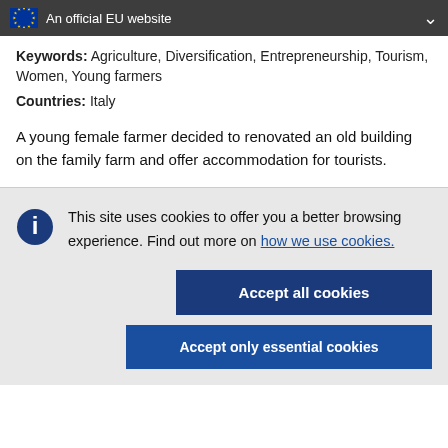An official EU website
Keywords: Agriculture, Diversification, Entrepreneurship, Tourism, Women, Young farmers
Countries: Italy
A young female farmer decided to renovated an old building on the family farm and offer accommodation for tourists.
This site uses cookies to offer you a better browsing experience. Find out more on how we use cookies.
Accept all cookies
Accept only essential cookies